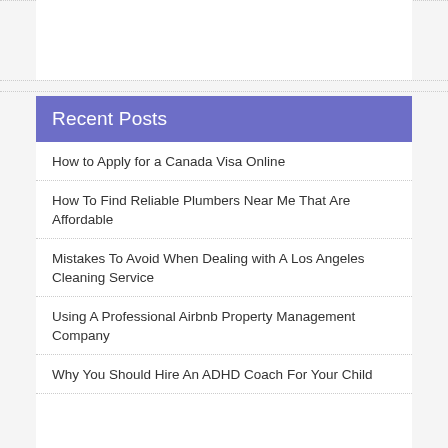Recent Posts
How to Apply for a Canada Visa Online
How To Find Reliable Plumbers Near Me That Are Affordable
Mistakes To Avoid When Dealing with A Los Angeles Cleaning Service
Using A Professional Airbnb Property Management Company
Why You Should Hire An ADHD Coach For Your Child